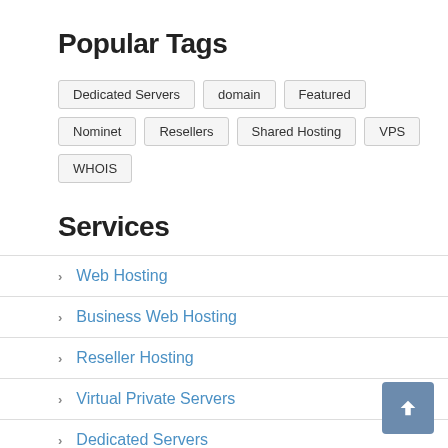Popular Tags
Dedicated Servers
domain
Featured
Nominet
Resellers
Shared Hosting
VPS
WHOIS
Services
Web Hosting
Business Web Hosting
Reseller Hosting
Virtual Private Servers
Dedicated Servers
SSL Certificates
Domain Names